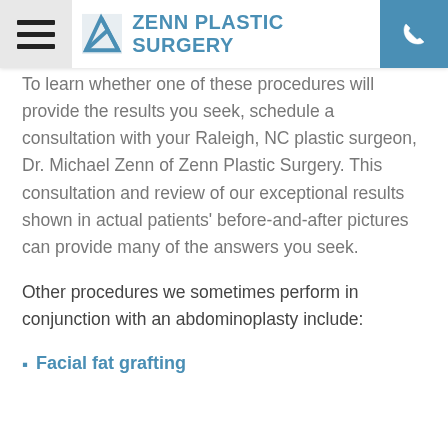Zenn Plastic Surgery
To learn whether one of these procedures will provide the results you seek, schedule a consultation with your Raleigh, NC plastic surgeon, Dr. Michael Zenn of Zenn Plastic Surgery. This consultation and review of our exceptional results shown in actual patients' before-and-after pictures can provide many of the answers you seek.
Other procedures we sometimes perform in conjunction with an abdominoplasty include:
Facial fat grafting